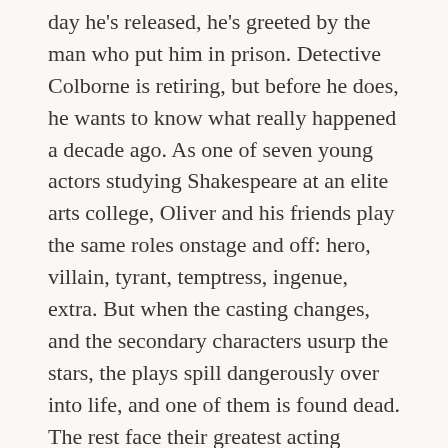day he's released, he's greeted by the man who put him in prison. Detective Colborne is retiring, but before he does, he wants to know what really happened a decade ago. As one of seven young actors studying Shakespeare at an elite arts college, Oliver and his friends play the same roles onstage and off: hero, villain, tyrant, temptress, ingenue, extra. But when the casting changes, and the secondary characters usurp the stars, the plays spill dangerously over into life, and one of them is found dead. The rest face their greatest acting challenge yet: convincing the police, and themselves, that they are blameless.
I love the idea of solving an old case, I love that it is set in Shakespearian times and I love